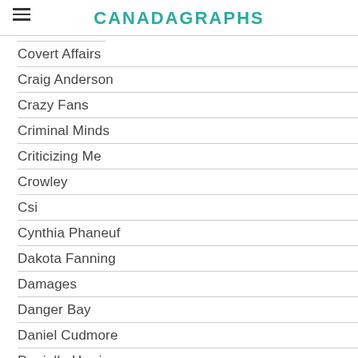CANADAGRAPHS
Covert Affairs
Craig Anderson
Crazy Fans
Criminal Minds
Criticizing Me
Crowley
Csi
Cynthia Phaneuf
Dakota Fanning
Damages
Danger Bay
Daniel Cudmore
Danielle Harris
Daniel Sedin